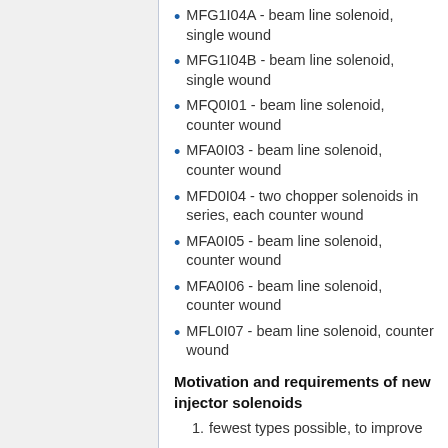MFG1I04A - beam line solenoid, single wound
MFG1I04B - beam line solenoid, single wound
MFQ0I01 - beam line solenoid, counter wound
MFA0I03 - beam line solenoid, counter wound
MFD0I04 - two chopper solenoids in series, each counter wound
MFA0I05 - beam line solenoid, counter wound
MFA0I06 - beam line solenoid, counter wound
MFL0I07 - beam line solenoid, counter wound
Motivation and requirements of new injector solenoids
fewest types possible, to improve